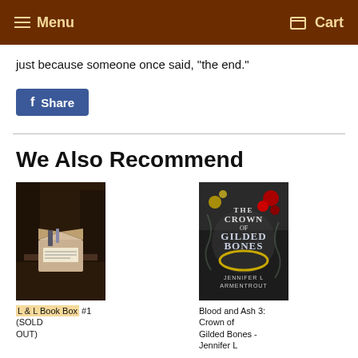Menu  Cart
just because someone once said, "the end."
[Figure (other): Facebook Share button]
We Also Recommend
[Figure (photo): L & L Book Box #1 (SOLD OUT) - photo of an open box on a table in a dark outdoor setting]
L & L Book Box #1 (SOLD OUT)
[Figure (photo): Blood and Ash 3: Crown of Gilded Bones - Jennifer L Armentrout book cover with ornate design]
Blood and Ash 3: Crown of Gilded Bones - Jennifer L